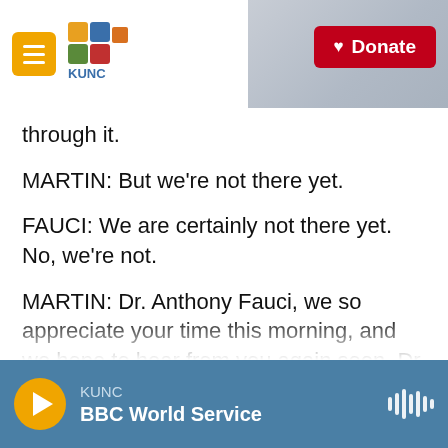KUNC — Donate
through it.
MARTIN: But we're not there yet.
FAUCI: We are certainly not there yet. No, we're not.
MARTIN: Dr. Anthony Fauci, we so appreciate your time this morning, and we hope to hear from you again soon. Dr. Fauci, director of the National Institutes of Allergy and Infectious Diseases at the NIH. Thank you, sir.
FAUCI: Thank you. Good to be with you. Transcript
KUNC — BBC World Service